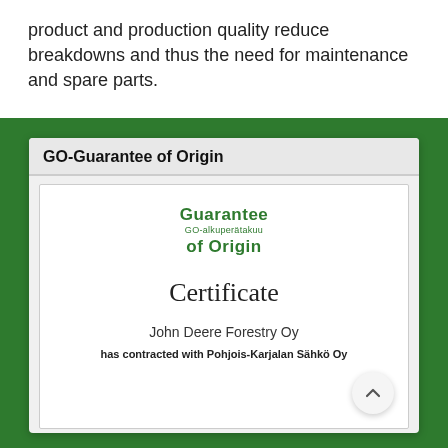product and production quality reduce breakdowns and thus the need for maintenance and spare parts.
GO-Guarantee of Origin
[Figure (screenshot): A certificate image showing 'Guarantee GO-alkuperätakuu of Origin' logo at top, then 'Certificate' heading, then 'John Deere Forestry Oy' and 'has contracted with Pohjois-Karjalan Sähkö Oy' text, with a scroll-up button in bottom-right corner.]